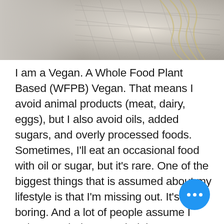[Figure (photo): Cropped top portion showing a blurred, abstract food or plant-based image with grey, white and yellow tones, likely pasta or noodles.]
I am a Vegan. A Whole Food Plant Based (WFPB) Vegan. That means I avoid animal products (meat, dairy, eggs), but I also avoid oils, added sugars, and overly processed foods. Sometimes, I'll eat an occasional food with oil or sugar, but it's rare. One of the biggest things that is assumed about my lifestyle is that I'm missing out. It's boring. And a lot of people assume I only eat salad. I eat salad, but I eat so much more than that. It doesn't make me mad when people make that assumption. I get it. It's out of the ordinary, and if the Standard Amer... Diet (SAD) is all you know, WFPB can...